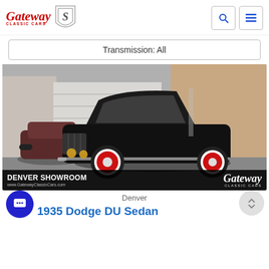[Figure (logo): Gateway Classic Cars logo with red script text and shield badge]
Transmission: All
[Figure (photo): 1935 Dodge DU Sedan black classic car parked outside Denver showroom, with Gateway Classic Cars branding overlay at bottom]
Denver
1935 Dodge DU Sedan